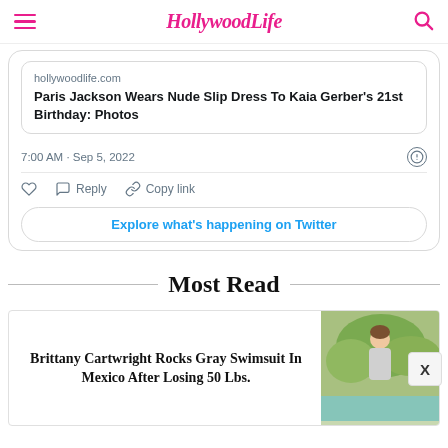HollywoodLife
hollywoodlife.com
Paris Jackson Wears Nude Slip Dress To Kaia Gerber's 21st Birthday: Photos
7:00 AM · Sep 5, 2022
Reply  Copy link
Explore what's happening on Twitter
Most Read
Brittany Cartwright Rocks Gray Swimsuit In Mexico After Losing 50 Lbs.
[Figure (photo): Woman in swimsuit outdoors near pool/greenery]